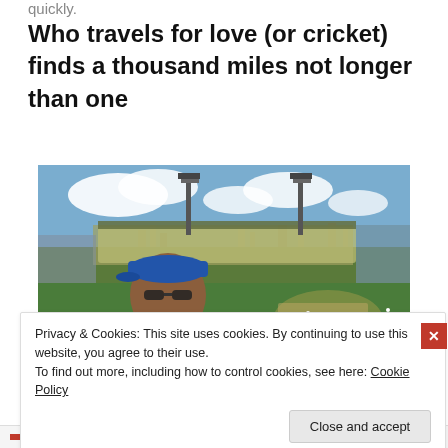quickly.
Who travels for love (or cricket) finds a thousand miles not longer than one
[Figure (photo): A smiling man wearing a blue cap and sunglasses, standing in front of a cricket ground (Sydney Cricket Ground) with floodlight towers, stands, and city skyline visible in the background under a blue sky.]
Privacy & Cookies: This site uses cookies. By continuing to use this website, you agree to their use.
To find out more, including how to control cookies, see here: Cookie Policy
Close and accept